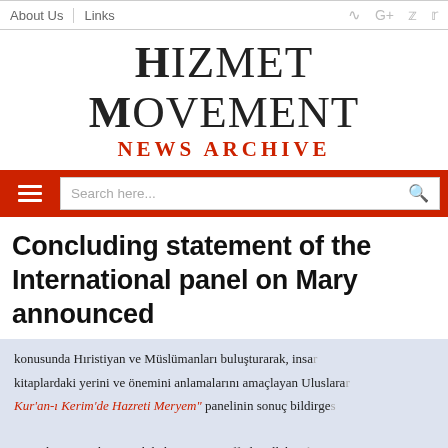About Us | Links
HIZMET MOVEMENT
NEWS ARCHIVE
[Figure (screenshot): Search bar with hamburger menu on red background and search input field]
Concluding statement of the International panel on Mary announced
[Figure (photo): Partial view of a panel discussion with Turkish text visible in background and three panelists partially visible at bottom]